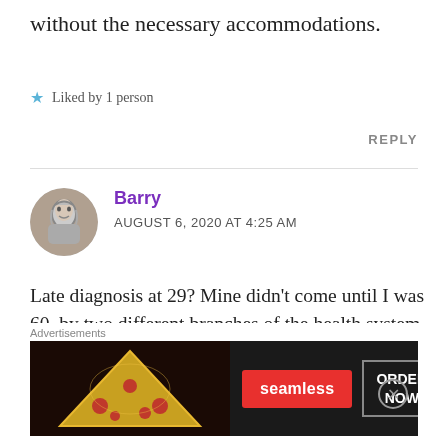without the necessary accommodations.
Liked by 1 person
REPLY
Barry
AUGUST 6, 2020 AT 4:25 AM
Late diagnosis at 29? Mine didn't come until I was 60, by two different branches of the health system within a few months of each other. Even so, it's not "official" as in both cases it was decided that at my age there
[Figure (photo): Advertisement banner for Seamless food delivery service showing pizza image, Seamless logo button, and ORDER NOW button]
Advertisements